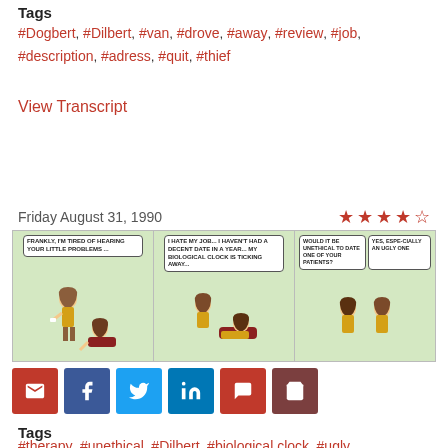Tags
#Dogbert, #Dilbert, #van, #drove, #away, #review, #job, #description, #adress, #quit, #thief
View Transcript
Friday August 31, 1990
[Figure (illustration): Dilbert comic strip with three panels: Panel 1 shows a therapist saying 'FRANKLY, I'M TIRED OF HEARING YOUR LITTLE PROBLEMS...' with a patient visible; Panel 2 shows a patient on a couch saying 'I HATE MY JOB... I HAVEN'T HAD A DECENT DATE IN A YEAR... MY BIOLOGICAL CLOCK IS TICKING AWAY...'; Panel 3 shows the therapist asking 'WOULD IT BE UNETHICAL TO DATE ONE OF YOUR PATIENTS?' and replying 'YES, ESPECIALLY AN UGLY ONE']
[Figure (other): Social sharing buttons: email (red), facebook (blue), twitter (light blue), linkedin (dark blue), comment (red), cart (dark red)]
Tags
#therapy, #unethical, #Dilbert, #biological clock, #ugly,